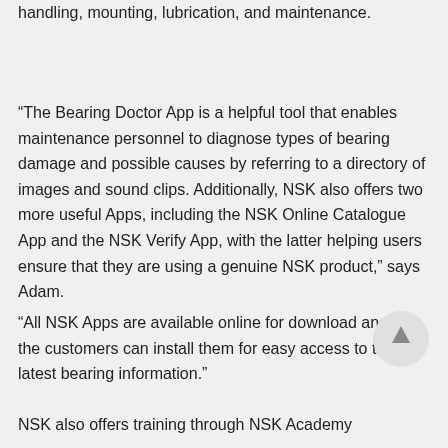handling, mounting, lubrication, and maintenance.
“The Bearing Doctor App is a helpful tool that enables maintenance personnel to diagnose types of bearing damage and possible causes by referring to a directory of images and sound clips. Additionally, NSK also offers two more useful Apps, including the NSK Online Catalogue App and the NSK Verify App, with the latter helping users ensure that they are using a genuine NSK product,” says Adam.
“All NSK Apps are available online for download and the customers can install them for easy access to the latest bearing information.”
NSK also offers training through NSK Academy